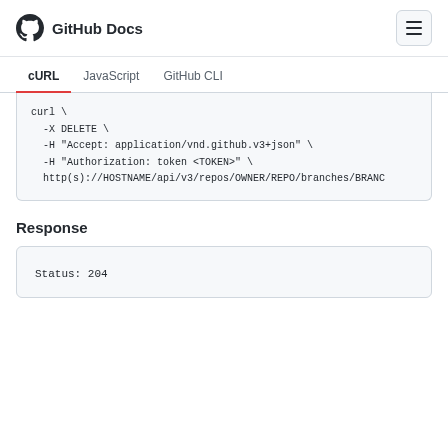GitHub Docs
cURL  JavaScript  GitHub CLI
curl \
  -X DELETE \
  -H "Accept: application/vnd.github.v3+json" \
  -H "Authorization: token <TOKEN>" \
  http(s)://HOSTNAME/api/v3/repos/OWNER/REPO/branches/BRAN...
Response
Status: 204